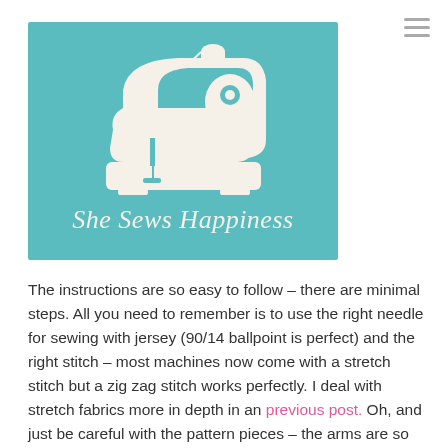[Figure (logo): She Sews Happiness logo: teal/turquoise square background with a cream/off-white silhouette of a vintage sewing machine and the text 'She Sews Happiness' in italic serif font below it.]
The instructions are so easy to follow – there are minimal steps. All you need to remember is to use the right needle for sewing with jersey (90/14 ballpoint is perfect) and the right stitch – most machines now come with a stretch stitch but a zig zag stitch works perfectly. I deal with stretch fabrics more in depth in an previous post. Oh, and just be careful with the pattern pieces – the arms are so substantial that